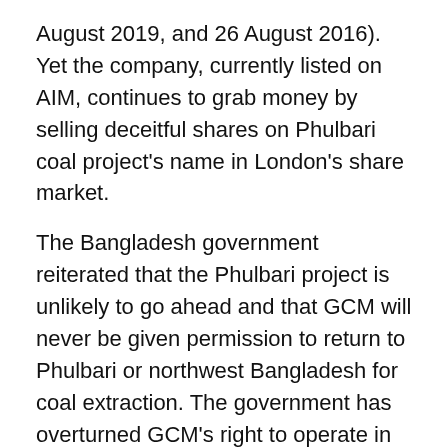August 2019, and 26 August 2016). Yet the company, currently listed on AIM, continues to grab money by selling deceitful shares on Phulbari coal project's name in London's share market.
The Bangladesh government reiterated that the Phulbari project is unlikely to go ahead and that GCM will never be given permission to return to Phulbari or northwest Bangladesh for coal extraction. The government has overturned GCM's right to operate in Bangladesh more than a decade ago.  Speaking in August 2019 to the Prothom Alo newspaper, Nasrul Hamid, the Deputy State Minister for Power, Energy and Mineral Resources in Bangladesh said:
“Even in the absence of an agreement, GCM or Asia Energy is trading shares in London by providing